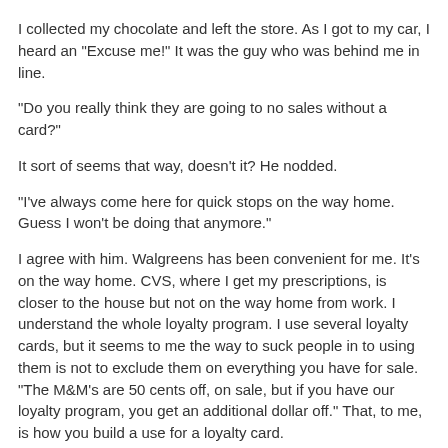I collected my chocolate and left the store. As I got to my car, I heard an "Excuse me!" It was the guy who was behind me in line.
"Do you really think they are going to no sales without a card?"
It sort of seems that way, doesn't it? He nodded.
"I've always come here for quick stops on the way home. Guess I won't be doing that anymore."
I agree with him. Walgreens has been convenient for me. It's on the way home. CVS, where I get my prescriptions, is closer to the house but not on the way home from work. I understand the whole loyalty program. I use several loyalty cards, but it seems to me the way to suck people in to using them is not to exclude them on everything you have for sale. "The M&M's are 50 cents off, on sale, but if you have our loyalty program, you get an additional dollar off." That, to me, is how you build a use for a loyalty card.